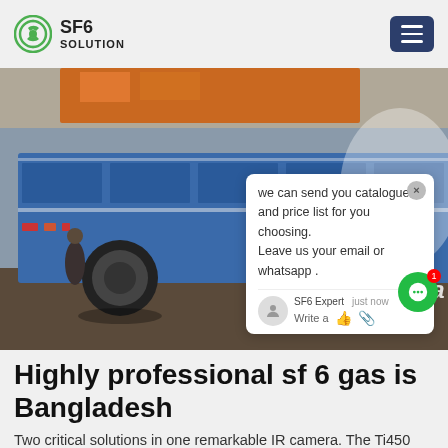SF6 SOLUTION
[Figure (photo): A blue dump truck loaded with industrial equipment inside a warehouse. A chat popup overlay is visible on the right side of the image showing a message from SF6 Expert: 'we can send you catalogue and price list for you choosing. Leave us your email or whatsapp .']
Highly professional sf 6 gas is Bangladesh
Two critical solutions in one remarkable IR camera. The Ti450 insulating gas Gas Leak Detector tips the scales on performance and affordability. With its